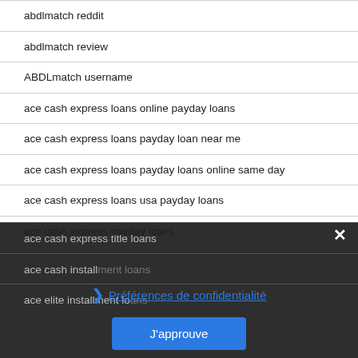abdlmatch reddit
abdlmatch review
ABDLmatch username
ace cash express loans online payday loans
ace cash express loans payday loan near me
ace cash express loans payday loans online same day
ace cash express loans usa payday loans
ace cash express payday loans
ace cash express title loans
ace cash installment loans
ace elite installment loans
Préférences de confidentialité
J'approuve